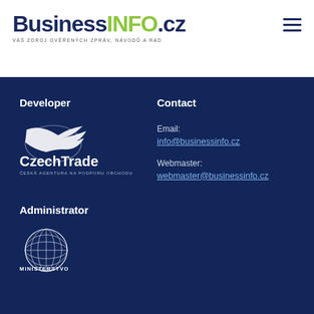[Figure (logo): BusinessINFO.cz logo with tagline: VÁŠ ZDROJ OVĚŘENÝCH ZPRÁV, NÁVODŮ A RAD]
Developer
[Figure (logo): CzechTrade logo - Česká agentura na podporu obchodu]
Contact
Email: info@businessinfo.cz
Webmaster: webmaster@businessinfo.cz
Administrator
[Figure (logo): Ministerstvo logo (globe/sphere icon) with text MINISTERSTVO]